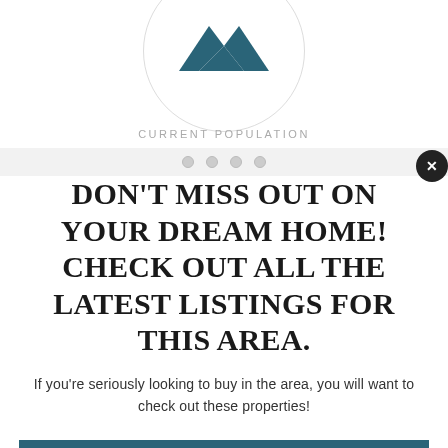[Figure (logo): Partial circle with teal arrow/house logo visible at top, labeled CURRENT POPULATION below]
CURRENT POPULATION
Don't miss out on your dream home! Check out all the latest listings for this area.
If you're seriously looking to buy in the area, you will want to check out these properties!
Start Searching